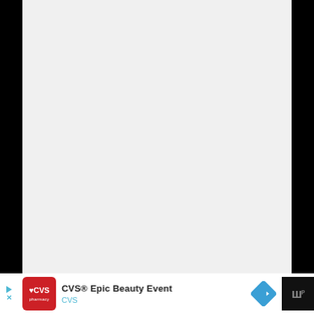[Figure (screenshot): Large light gray blank content area representing a webpage or document body with no visible content]
[Figure (infographic): CVS Pharmacy advertisement banner: CVS logo (red box with heart and pharmacy text), text 'CVS® Epic Beauty Event' in bold black, 'CVS' in light blue below, blue diamond navigation arrow icon on right, and a dark panel on far right with stylized 'W' icon with superscript]